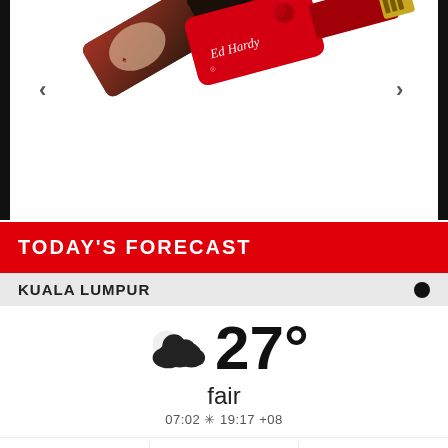[Figure (photo): Two Ed Hardy branded key-shaped USB flash drives displayed against a white background. The drives have colorful tattoo-style artwork. Navigation arrows (< and >) are visible on the left and right sides.]
TODAY'S FORECAST
KUALA LUMPUR
[Figure (infographic): Weather icon showing partly cloudy (cloud with sun behind) and temperature 27 degrees, condition: fair, sunrise 07:02, sunset 19:17, timezone +08]
fair
07:02 ☀ 19:17 +08
| thu | fri | sat |
| --- | --- | --- |
| min 26°C | 32/26°C | 34/26°C |